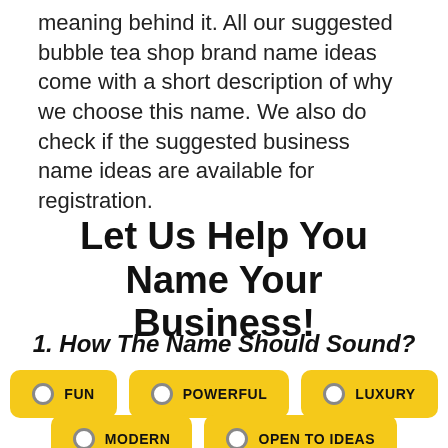meaning behind it. All our suggested bubble tea shop brand name ideas come with a short description of why we choose this name. We also do check if the suggested business name ideas are available for registration.
Let Us Help You Name Your Business!
1. How The Name Should Sound?
FUN
POWERFUL
LUXURY
MODERN
OPEN TO IDEAS